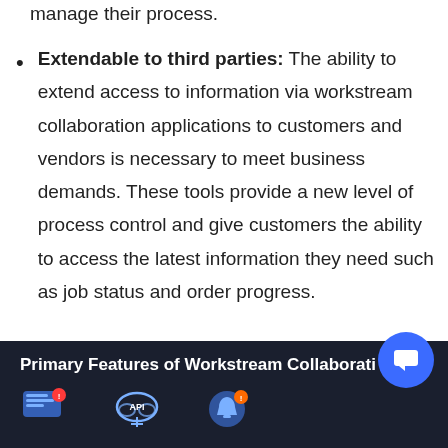manage their process.
Extendable to third parties: The ability to extend access to information via workstream collaboration applications to customers and vendors is necessary to meet business demands. These tools provide a new level of process control and give customers the ability to access the latest information they need such as job status and order progress.
[Figure (infographic): Dark banner showing 'Primary Features of Workstream Collaboration' with icons for chat/messaging, API cloud, and notification features. A blue circular chat button overlays the top-right corner of the banner.]